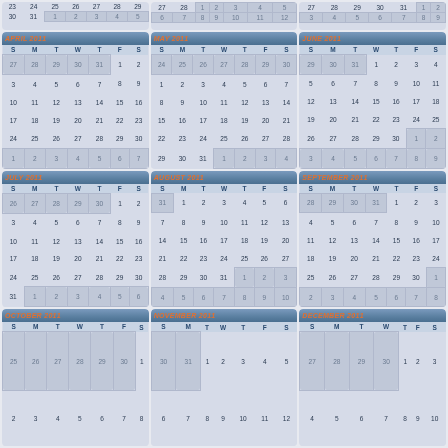[Figure (other): 2011 calendar partial page showing months April through December 2011, with partial rows from previous months at top. Days of each month displayed in a grid with S M T W T F S headers. Days from adjacent months shown in lighter shaded cells.]